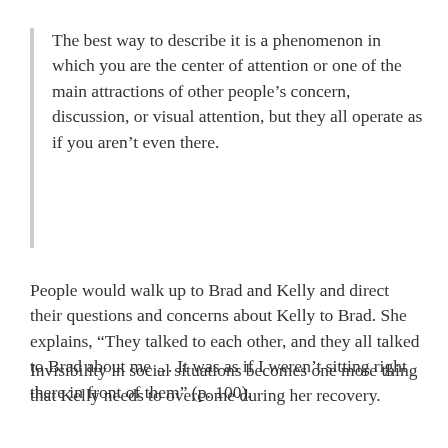The best way to describe it is a phenomenon in which you are the center of attention or one of the main attractions of other people's concern, discussion, or visual attention, but they all operate as if you aren't even there.
People would walk up to Brad and Kelly and direct their questions and concerns about Kelly to Brad. She explains, “They talked to each other, and they all talked to Brad about me … It was as if I weren’t sitting right there in front of them” (p. 100).
Invisibility in social situations becomes one more thing that Kelly needs to overcome during her recovery.